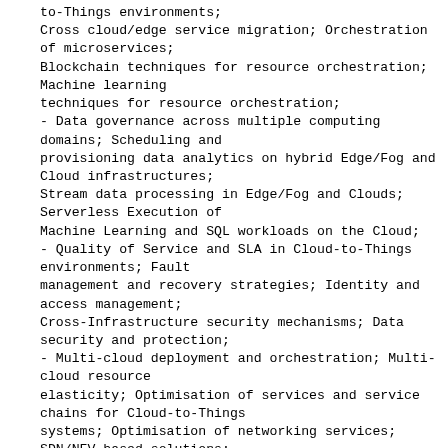to-Things environments;
Cross cloud/edge service migration; Orchestration of microservices;
Blockchain techniques for resource orchestration; Machine learning
techniques for resource orchestration;
- Data governance across multiple computing domains; Scheduling and
provisioning data analytics on hybrid Edge/Fog and Cloud infrastructures;
Stream data processing in Edge/Fog and Clouds; Serverless Execution of
Machine Learning and SQL workloads on the Cloud;
- Quality of Service and SLA in Cloud-to-Things environments; Fault
management and recovery strategies; Identity and access management;
Cross-Infrastructure security mechanisms; Data security and protection;
- Multi-cloud deployment and orchestration; Multi-cloud resource
elasticity; Optimisation of services and service chains for Cloud-to-Things
systems; Optimisation of networking services; SDN/NFV based solutions;
Networking; Network orchestration;
- Orchestration of computing resources in the following applicative
domains: Smart City; Smart Industry; Smart Grid;